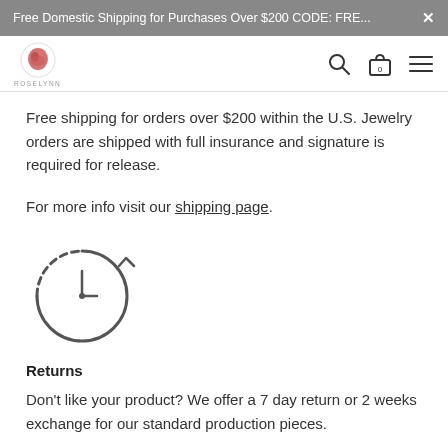Free Domestic Shipping for Purchases Over $200 CODE: FRE... ×
[Figure (logo): Rose/jewelry shop logo with small text beneath]
Free shipping for orders over $200 within the U.S. Jewelry orders are shipped with full insurance and signature is required for release.
For more info visit our shipping page.
[Figure (illustration): Clock/time icon showing a circular clock with an arrow indicating refresh or countdown]
Returns
Don't like your product? We offer a 7 day return or 2 weeks exchange for our standard production pieces.